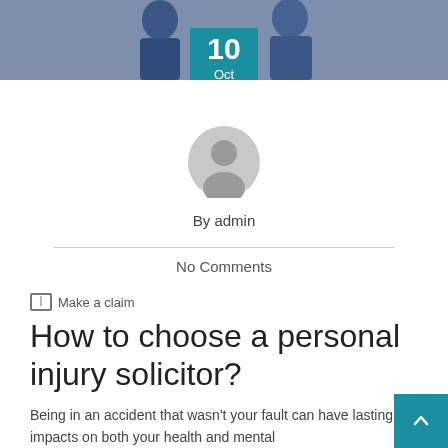[Figure (photo): Banner photo of two people in dark/navy clothing at the top of the page]
[Figure (illustration): Date badge showing '10 Oct' in teal/blue square overlapping the banner photo]
[Figure (illustration): Gray circular avatar/user profile icon]
By admin
No Comments
Make a claim
How to choose a personal injury solicitor?
Being in an accident that wasn't your fault can have lasting impacts on both your health and mental